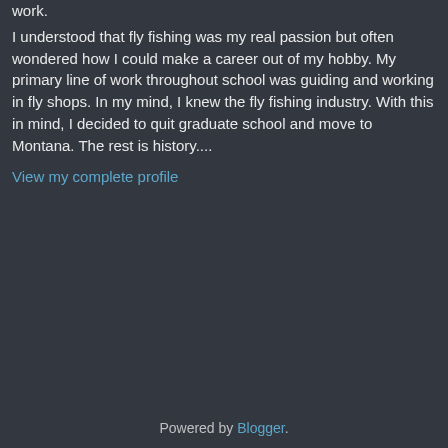work.
I understood that fly fishing was my real passion but often wondered how I could make a career out of my hobby. My primary line of work throughout school was guiding and working in fly shops. In my mind, I knew the fly fishing industry. With this in mind, I decided to quit graduate school and move to Montana. The rest is history....
View my complete profile
Powered by Blogger.